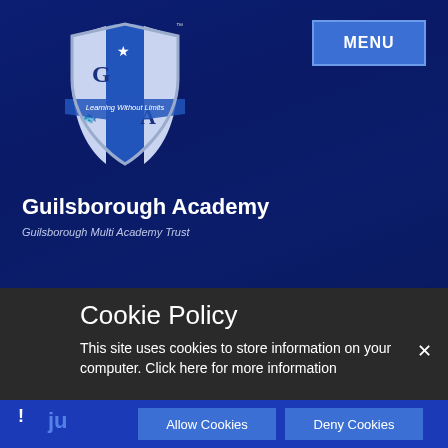[Figure (logo): Guilsborough Academy shield logo with 'G' and 'A' letters, 'Learning Without Limits' banner, blue and white shield design]
MENU
Guilsborough Academy
Guilsborough Multi Academy Trust
Cookie Policy
This site uses cookies to store information on your computer. Click here for more information
Allow Cookies
Deny Cookies